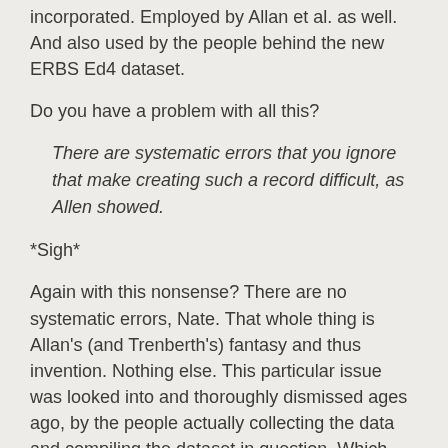incorporated. Employed by Allan et al. as well. And also used by the people behind the new ERBS Ed4 dataset.
Do you have a problem with all this?
There are systematic errors that you ignore that make creating such a record difficult, as Allen showed.
*Sigh*
Again with this nonsense? There are no systematic errors, Nate. That whole thing is Allan's (and Trenberth's) fantasy and thus invention. Nothing else. This particular issue was looked into and thoroughly dismissed ages ago, by the people actually collecting the data and compiling the dataset in question. Which you know full well.
There is nothing there. You, Allan and Trenberth are grasping at straws that aren't even there. And it's all been explained to you again and again. I discussed it already in my original analysis (links above). But I